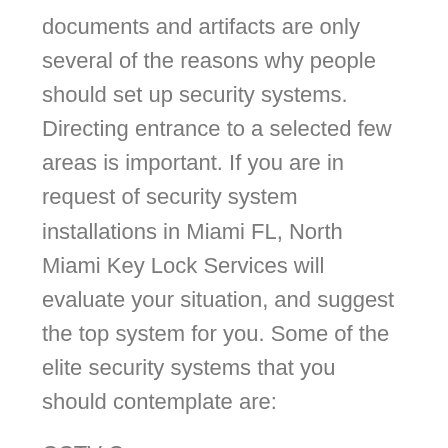documents and artifacts are only several of the reasons why people should set up security systems. Directing entrance to a selected few areas is important. If you are in request of security system installations in Miami FL, North Miami Key Lock Services will evaluate your situation, and suggest the top system for you. Some of the elite security systems that you should contemplate are:
CCTV Cameras
CCTV cameras are used to broadcast signal to a certain place on a set of monitors. These are typically benefited for surveillance activities in well secured regions, organizations and community places.
Burglar Alarm Systems